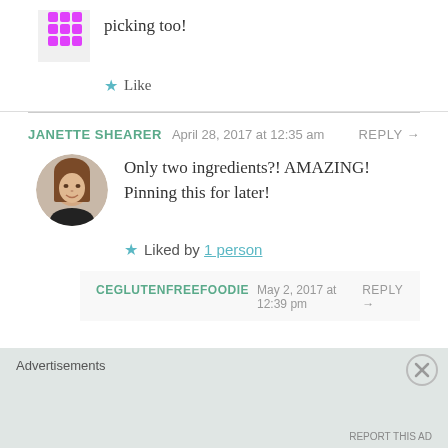picking too!
Like
JANETTE SHEARER   April 28, 2017 at 12:35 am   REPLY →
[Figure (photo): Round avatar photo of a woman with long brown hair]
Only two ingredients?! AMAZING! Pinning this for later!
Liked by 1 person
CEGLUTENFREEFOODIE   May 2, 2017 at 12:39 pm   REPLY →
Advertisements